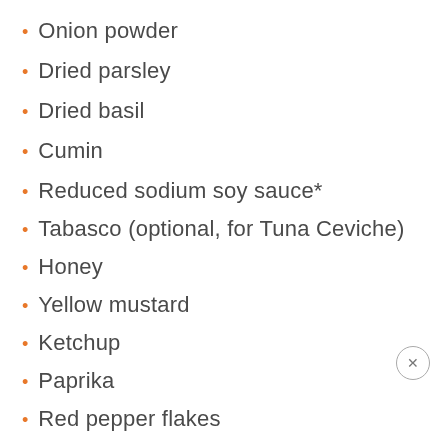Onion powder
Dried parsley
Dried basil
Cumin
Reduced sodium soy sauce*
Tabasco (optional, for Tuna Ceviche)
Honey
Yellow mustard
Ketchup
Paprika
Red pepper flakes
Chili powder